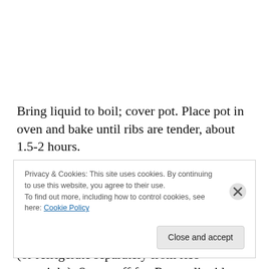Bring liquid to boil; cover pot. Place pot in oven and bake until ribs are tender, about 1.5-2 hours.
Using tongs, transfer ribs to large bowl. Strain cooking liquid into medium bowl, pressing on contents of strainer. Freeze liquid until fat rises to top, about 30 minutes (or refrigerate separately from ribs overnight). Spoon off fat. Return liquid to pot. Add honey; boil until sauce is thick...
Privacy & Cookies: This site uses cookies. By continuing to use this website, you agree to their use.
To find out more, including how to control cookies, see here: Cookie Policy
Close and accept